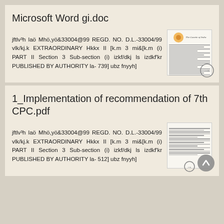Microsoft Word gi.doc
jftlv³h laö Mhö,yö&33004@99 REGD. NO. D.L.-33004/99 vlk/kj.k EXTRAORDINARY Hkkx II [k.m 3 mi&[k.m (i) PART II Section 3 Sub-section (i) izkf/dkj ls izdkf'kr PUBLISHED BY AUTHORITY la- 739] ubz fnyyh]
[Figure (screenshot): Thumbnail of government gazette document with emblem at top]
1_Implementation of recommendation of 7th CPC.pdf
jftlv³h laö Mhö,yö&33004@99 REGD. NO. D.L.-33004/99 vlk/kj.k EXTRAORDINARY Hkkx II [k.m 3 mi&[k.m (i) PART II Section 3 Sub-section (i) izkf/dkj ls izdkf'kr PUBLISHED BY AUTHORITY la- 512] ubz fnyyh]
[Figure (screenshot): Thumbnail of implementation document with text content]